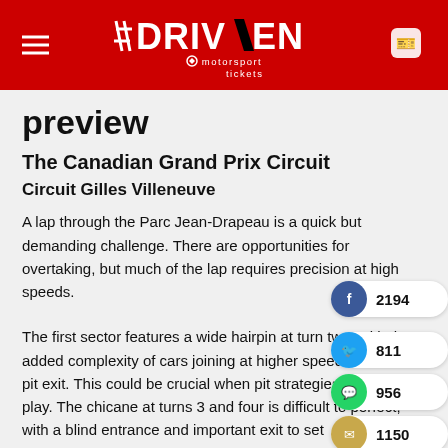DRIVEN motorsport tickets
preview
The Canadian Grand Prix Circuit
Circuit Gilles Villeneuve
A lap through the Parc Jean-Drapeau is a quick but demanding challenge. There are opportunities for overtaking, but much of the lap requires precision at high speeds.
The first sector features a wide hairpin at turn two, with the added complexity of cars joining at higher speeds from the pit exit. This could be crucial when pit strategies come into play. The chicane at turns 3 and four is difficult to perfect, with a blind entrance and important exit to set